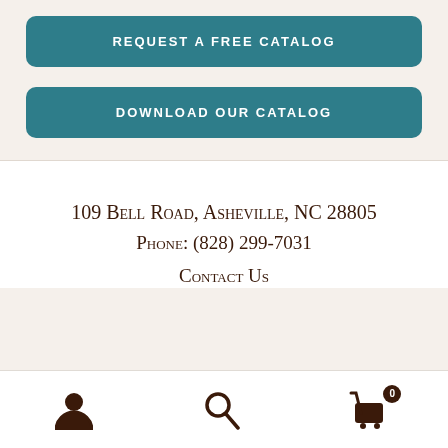[Figure (screenshot): Teal rounded button labeled REQUEST A FREE CATALOG]
[Figure (screenshot): Teal rounded button labeled DOWNLOAD OUR CATALOG]
109 Bell Road, Asheville, NC 28805
Phone: (828) 299-7031
Contact Us
[Figure (infographic): Mobile navigation footer bar with user icon, search icon, and cart icon with badge showing 0]